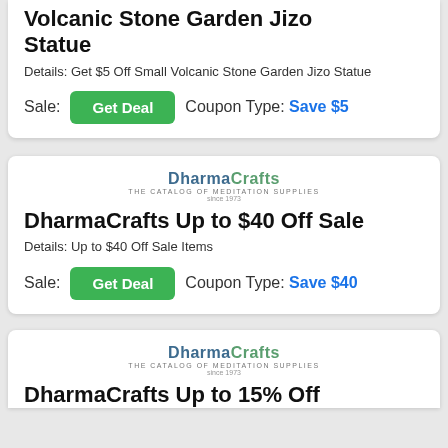Volcanic Stone Garden Jizo Statue
Details: Get $5 Off Small Volcanic Stone Garden Jizo Statue
Sale: Get Deal   Coupon Type: Save $5
[Figure (logo): DharmaCrafts logo — THE CATALOG OF MEDITATION SUPPLIES, since 1973]
DharmaCrafts Up to $40 Off Sale
Details: Up to $40 Off Sale Items
Sale: Get Deal   Coupon Type: Save $40
[Figure (logo): DharmaCrafts logo — THE CATALOG OF MEDITATION SUPPLIES, since 1973]
DharmaCrafts Up to 15% Off